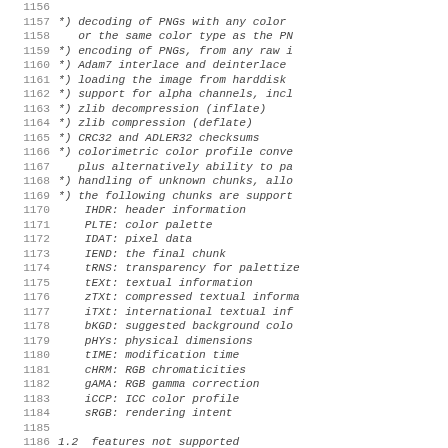Code listing lines 1156-1186 showing PNG features list including decoding, encoding, interlace, alpha channels, zlib, CRC32, colorimetric, chunk handling, and supported chunks (IHDR, PLTE, IDAT, IEND, tRNS, tEXt, zTXt, iTXt, bKGD, pHYs, tIME, cHRM, gAMA, iCCP, sRGB), followed by section 1.2 features not supported